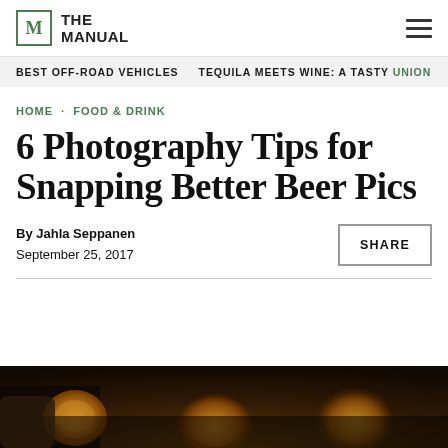THE MANUAL
BEST OFF-ROAD VEHICLES   TEQUILA MEETS WINE: A TASTY UNION
HOME · FOOD & DRINK
6 Photography Tips for Snapping Better Beer Pics
By Jahla Seppanen
September 25, 2017
[Figure (photo): Bottom strip showing beer bottle caps on a dark wooden surface, blurred/bokeh background]